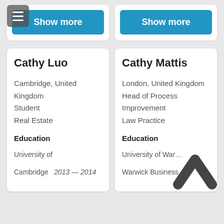[Figure (screenshot): Show more button (blue, rounded) in left card at top]
[Figure (screenshot): Show more button (blue, rounded) in right card at top]
Cathy Luo
Cambridge, United Kingdom
Student
Real Estate
Education
University of Cambridge   2013 — 2014
Cathy Mattis
London, United Kingdom
Head of Process Improvement
Law Practice
Education
University of Warwick
Warwick Business